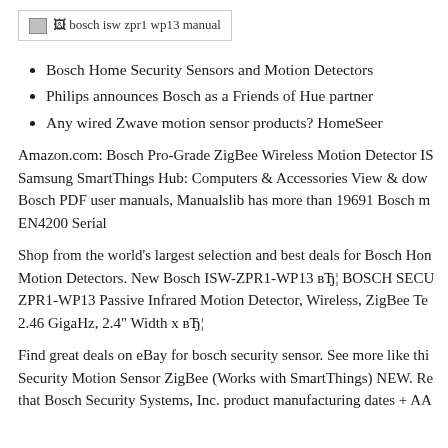[Figure (other): Broken image placeholder with alt text 'bosch isw zpr1 wp13 manual']
Bosch Home Security Sensors and Motion Detectors
Philips announces Bosch as a Friends of Hue partner
Any wired Zwave motion sensor products? HomeSeer
Amazon.com: Bosch Pro-Grade ZigBee Wireless Motion Detector IS Samsung SmartThings Hub: Computers & Accessories View & dow Bosch PDF user manuals, Manualslib has more than 19691 Bosch m EN4200 Serial
Shop from the world's largest selection and best deals for Bosch Hon Motion Detectors. New Bosch ISW-ZPR1-WP13 вЂ¦ BOSCH SECU ZPR1-WP13 Passive Infrared Motion Detector, Wireless, ZigBee Te 2.46 GigaHz, 2.4" Width x вЂ¦
Find great deals on eBay for bosch security sensor. See more like thi Security Motion Sensor ZigBee (Works with SmartThings) NEW. Re that Bosch Security Systems, Inc. product manufacturing dates + AA